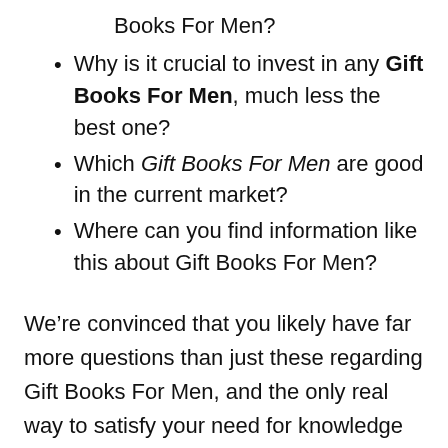Books For Men?
Why is it crucial to invest in any Gift Books For Men, much less the best one?
Which Gift Books For Men are good in the current market?
Where can you find information like this about Gift Books For Men?
We’re convinced that you likely have far more questions than just these regarding Gift Books For Men, and the only real way to satisfy your need for knowledge is to get information from